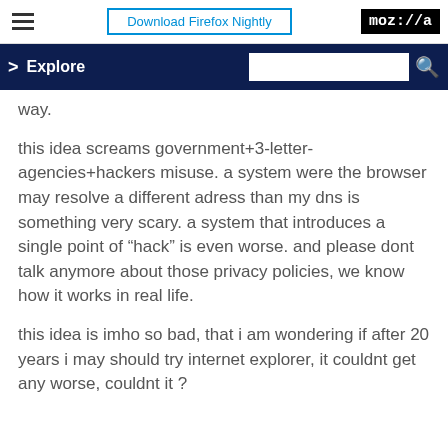Download Firefox Nightly | moz://a
Explore
way.
this idea screams government+3-letter-agencies+hackers misuse. a system were the browser may resolve a different adress than my dns is something very scary. a system that introduces a single point of “hack” is even worse. and please dont talk anymore about those privacy policies, we know how it works in real life.
this idea is imho so bad, that i am wondering if after 20 years i may should try internet explorer, it couldnt get any worse, couldnt it ?